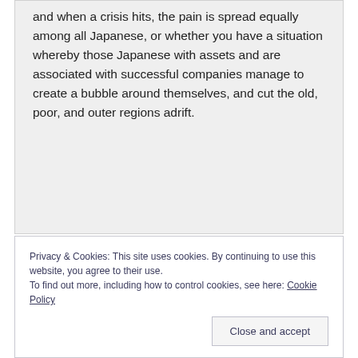and when a crisis hits, the pain is spread equally among all Japanese, or whether you have a situation whereby those Japanese with assets and are associated with successful companies manage to create a bubble around themselves, and cut the old, poor, and outer regions adrift.
Privacy & Cookies: This site uses cookies. By continuing to use this website, you agree to their use. To find out more, including how to control cookies, see here: Cookie Policy